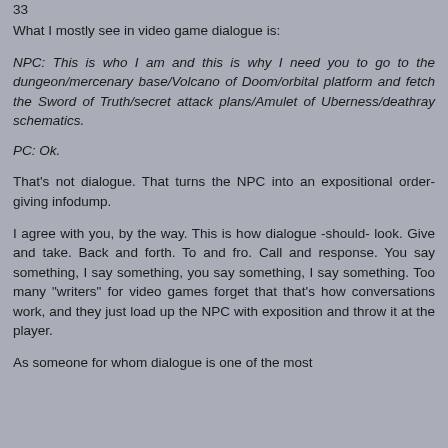What I mostly see in video game dialogue is:
NPC: This is who I am and this is why I need you to go to the dungeon/mercenary base/Volcano of Doom/orbital platform and fetch the Sword of Truth/secret attack plans/Amulet of Uberness/deathray schematics.
PC: Ok.
That's not dialogue. That turns the NPC into an expositional order-giving infodump.
I agree with you, by the way. This is how dialogue -should- look. Give and take. Back and forth. To and fro. Call and response. You say something, I say something, you say something, I say something. Too many "writers" for video games forget that that's how conversations work, and they just load up the NPC with exposition and throw it at the player.
As someone for whom dialogue is one of the most